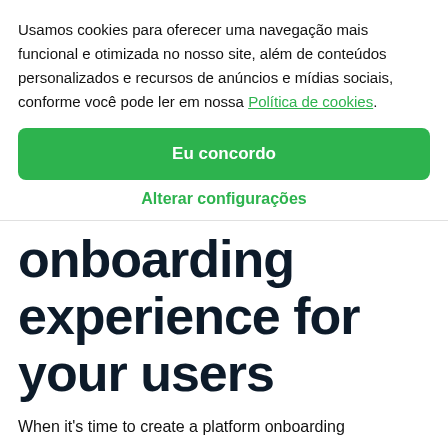Usamos cookies para oferecer uma navegação mais funcional e otimizada no nosso site, além de conteúdos personalizados e recursos de anúncios e mídias sociais, conforme você pode ler em nossa Política de cookies.
Eu concordo
Alterar configurações
onboarding experience for your users
When it's time to create a platform onboarding